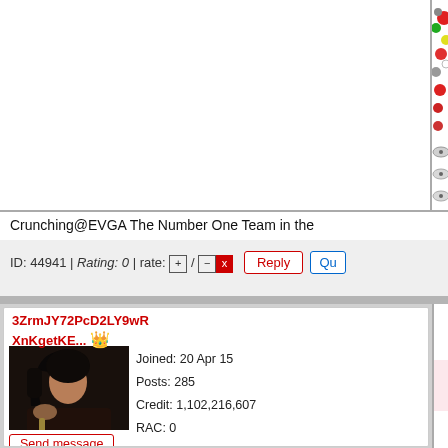[Figure (screenshot): Top portion showing BOINC/EVGA team banner with colorful molecule and CD/DVD icons, partial view]
Crunching@EVGA The Number One Team in the
ID: 44941 | Rating: 0 | rate: [+] / [-][x]
Message 44943 - Posted: 27 Oct 2016 | 22:07:19
Last modified: 27 Oct 2016 | 22:08:35 UTC
3ZrmJY72PcD2LY9wR XnKgetKE... 👑
[Figure (photo): Profile photo of a woman with dark hair]
Send message
Joined: 20 Apr 15
Posts: 285
Credit: 1,102,216,607
RAC: 0
Level
yes... it is amazing. My 1080 needs to
is not utilized fully. Wow.

Testing this now:
<app_config>
<app>
<name>acemdbeta</name>
<gpu_versions>
<gpu_usage>0.5</gpu_usage>
<cpu_usage>0.5</cpu_usage>
</gpu_versions>